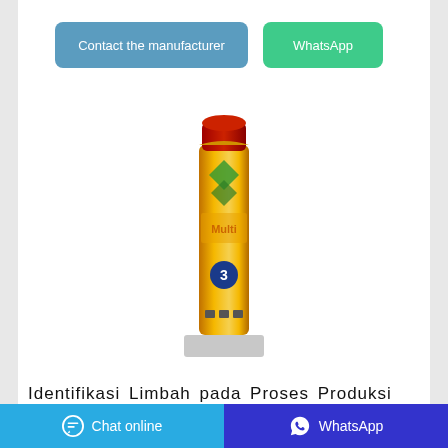[Figure (other): Blue rounded button labeled 'Contact the manufacturer']
[Figure (other): Green rounded button labeled 'WhatsApp']
[Figure (photo): Product photo of a spray can insecticide (mosquito coil/obat nyamuk) branded 'BARRONa Multi' with orange/yellow label, red cap, displayed on a white stand.]
Identifikasi Limbah pada Proses Produksi Obat Nyamuk Bakar ...
Based on the observation, some of the waste obtained from each stage of the production process can be
[Figure (other): Bottom navigation bar: left blue 'Chat online' button with chat icon, right dark blue 'WhatsApp' button with WhatsApp icon.]